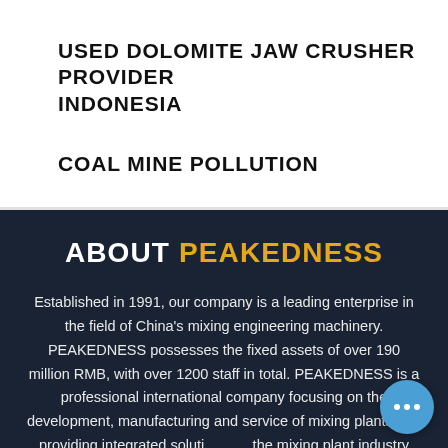USED DOLOMITE JAW CRUSHER PROVIDER INDONESIA
COAL MINE POLLUTION
ABOUT PEAKEDNESS
Established in 1991, our company is a leading enterprise in the field of China's mixing engineering machinery. PEAKEDNESS possesses the fixed assets of over 190 million RMB, with over 1200 staff in total. PEAKEDNESS is a professional international company focusing on the development, manufacturing and service of mixing plants and providing integrated solutions the mixing plant industry chains.